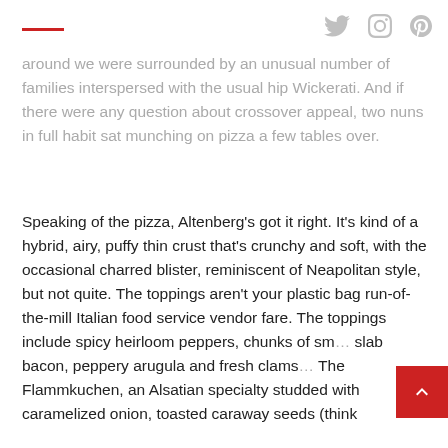[red line decoration] [Twitter icon] [Instagram icon] [Pinterest icon]
around we were surrounded by an unusual number of families interspersed with the usual hip Wickerati. And if there were any question about crossover appeal, two nuns in full habit sat munching on pizza a few tables over.
Speaking of the pizza, Altenberg’s got it right. It’s kind of a hybrid, airy, puffy thin crust that’s crunchy and soft, with the occasional charred blister, reminiscent of Neapolitan style, but not quite. The toppings aren’t your plastic bag run-of-the-mill Italian food service vendor fare. The toppings include spicy heirloom peppers, chunks of sm… slab bacon, peppery arugula and fresh clams… The Flammkuchen, an Alsatian specialty studded with caramelized onion, toasted caraway seeds (think